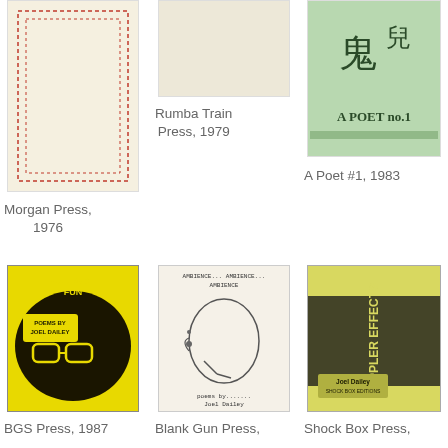[Figure (photo): Book cover: Morgan Press, plain cream/beige cover with dotted red border rectangle]
Morgan Press, 1976
[Figure (photo): Book cover: Rumba Train Press, plain light cover]
Rumba Train Press, 1979
[Figure (photo): Book cover: A Poet #1, green cover with Chinese characters and text 'A POET no.1']
A Poet #1, 1983
[Figure (photo): Book cover: BGS Press, black and yellow cover reading 'Hours of Fun, Poems by Joel Dailey' with image of man with glasses]
BGS Press, 1987
[Figure (photo): Book cover: Blank Gun Press, light cover with sketch of face/head and text 'poems by Joel Dailey' and top text 'AMBIENCE AMBIENCE AMBIENCE']
Blank Gun Press,
[Figure (photo): Book cover: Shock Box Press, yellow and dark cover reading 'Doppler Effects' by Joel Dailey]
Shock Box Press,